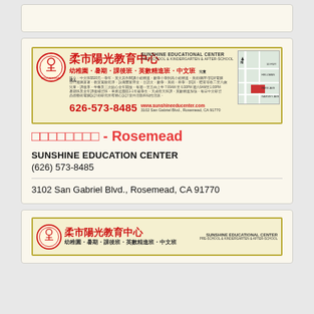[Figure (photo): Sunshine Educational Center advertisement banner in Chinese and English with logo, phone number 626-573-8485, website www.sunshineeducenter.com, address 3102 San Gabriel Blvd., Rosemead, CA 91770, and a small map]
柔市陽光教育中心 - Rosemead
SUNSHINE EDUCATION CENTER
(626) 573-8485
3102 San Gabriel Blvd., Rosemead, CA 91770
[Figure (photo): Sunshine Educational Center advertisement banner (partial, same as above)]